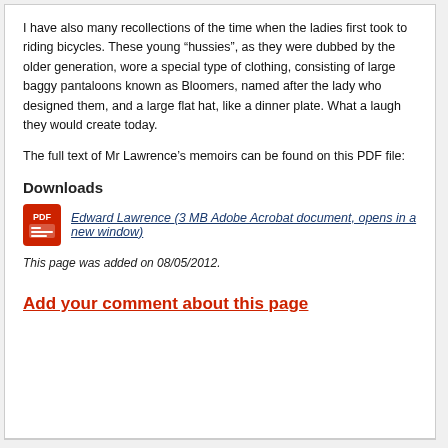I have also many recollections of the time when the ladies first took to riding bicycles. These young “hussies”, as they were dubbed by the older generation, wore a special type of clothing, consisting of large baggy pantaloons known as Bloomers, named after the lady who designed them, and a large flat hat, like a dinner plate. What a laugh they would create today.
The full text of Mr Lawrence’s memoirs can be found on this PDF file:
Downloads
Edward Lawrence (3 MB Adobe Acrobat document, opens in a new window)
This page was added on 08/05/2012.
Add your comment about this page